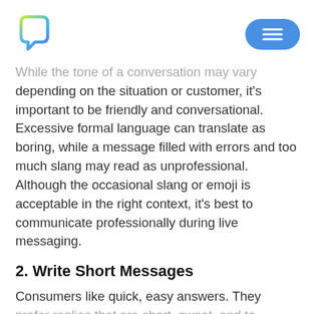[Logo and menu button]
While the tone of a conversation may vary depending on the situation or customer, it's important to be friendly and conversational. Excessive formal language can translate as boring, while a message filled with errors and too much slang may read as unprofessional. Although the occasional slang or emoji is acceptable in the right context, it's best to communicate professionally during live messaging.
2. Write Short Messages
Consumers like quick, easy answers. They prefer replies that are short, sweet, and to